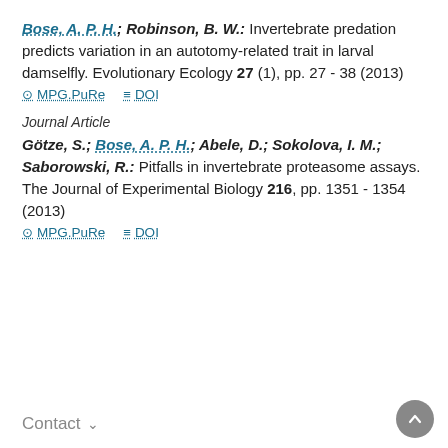Bose, A. P. H.; Robinson, B. W.: Invertebrate predation predicts variation in an autotomy-related trait in larval damselfly. Evolutionary Ecology 27 (1), pp. 27 - 38 (2013)
MPG.PuRe   DOI
Journal Article
Götze, S.; Bose, A. P. H.; Abele, D.; Sokolova, I. M.; Saborowski, R.: Pitfalls in invertebrate proteasome assays. The Journal of Experimental Biology 216, pp. 1351 - 1354 (2013)
MPG.PuRe   DOI
Contact